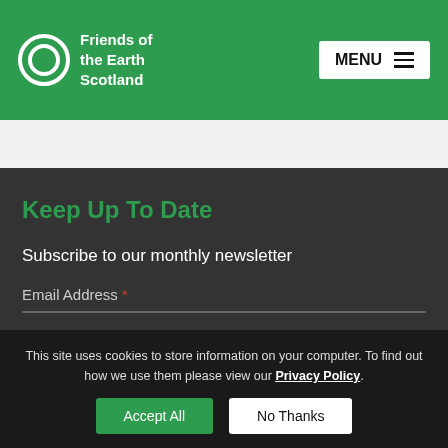Friends of the Earth Scotland
Keep Up To Date
Subscribe to our monthly newsletter
Email Address *
This site uses cookies to store information on your computer. To find out how we use them please view our Privacy Policy.